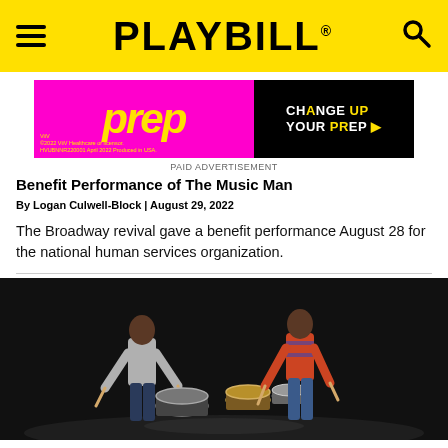PLAYBILL
[Figure (photo): Advertisement banner for PrEP medication with pink/magenta background showing 'PrEP' text in yellow on left and 'CHANGE UP YOUR PrEP' text in white/yellow on black background on right. ViiV Healthcare logo and fine print at bottom left.]
PAID ADVERTISEMENT
Benefit Performance of The Music Man
By Logan Culwell-Block | August 29, 2022
The Broadway revival gave a benefit performance August 28 for the national human services organization.
[Figure (photo): Two actors on a dark stage, facing each other across drum kit. Left actor wears grey shirt and dark pants. Right actor wears red/orange striped shirt and jeans. Both hold drumsticks and lean forward over the drums in a dramatic confrontational pose.]